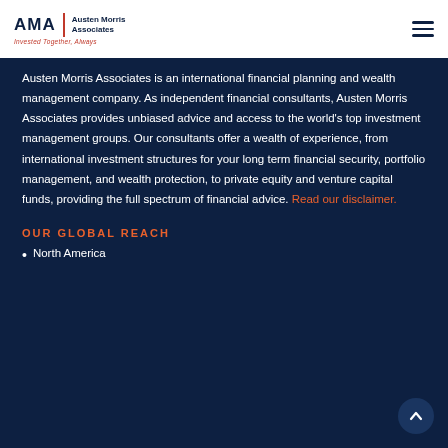AMA | Austen Morris Associates — Invested Together, Always
Austen Morris Associates is an international financial planning and wealth management company. As independent financial consultants, Austen Morris Associates provides unbiased advice and access to the world's top investment management groups. Our consultants offer a wealth of experience, from international investment structures for your long term financial security, portfolio management, and wealth protection, to private equity and venture capital funds, providing the full spectrum of financial advice. Read our disclaimer.
OUR GLOBAL REACH
North America